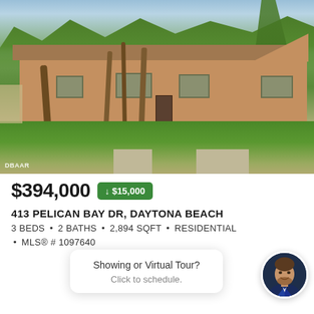[Figure (photo): Exterior photo of a single-story brick ranch-style house with palm trees in the front yard, green lawn and driveway visible. DBAAR watermark in lower left.]
$394,000 ↓ $15,000
413 PELICAN BAY DR, DAYTONA BEACH
3 BEDS • 2 BATHS • 2,894 SQFT • RESIDENTIAL • MLS® # 1097640
Showing or Virtual Tour? Click to schedule.